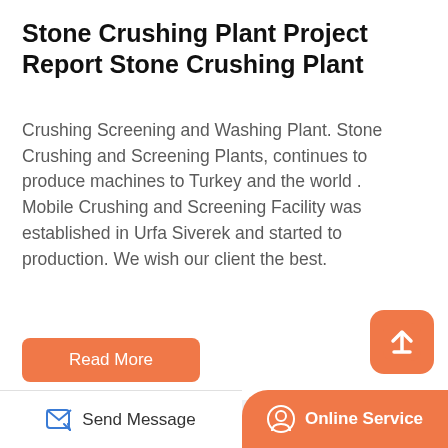Stone Crushing Plant Project Report Stone Crushing Plant
Crushing Screening and Washing Plant. Stone Crushing and Screening Plants, continues to produce machines to Turkey and the world . Mobile Crushing and Screening Facility was established in Urfa Siverek and started to production. We wish our client the best.
[Figure (illustration): Orange rounded rectangle 'Read More' button]
[Figure (illustration): Orange rounded square scroll-to-top button with upward arrow icon]
[Figure (photo): Stone crushing and screening plant machinery — conveyor belt and hopper equipment]
Send Message   Online Service